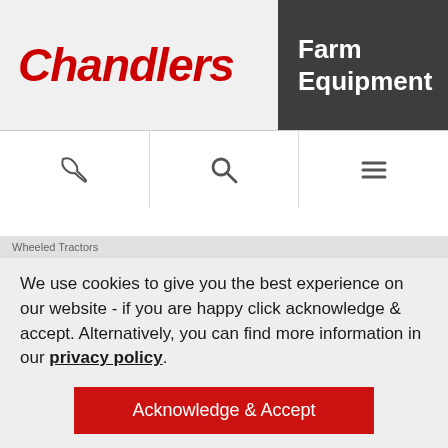[Figure (logo): Chandlers Farm Equipment logo: red italic bold 'Chandlers' text on light background, with 'Farm Equipment' in white on dark grey background]
[Figure (infographic): Navigation icon bar with phone, search (magnifying glass), and hamburger menu icons]
Wheeled Tractors
We use cookies to give you the best experience on our website - if you are happy click acknowledge & accept. Alternatively, you can find more information in our privacy policy.
Acknowledge & Accept